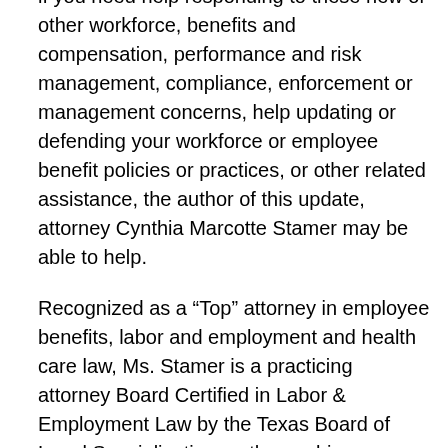if you need help responding to these new or other workforce, benefits and compensation, performance and risk management, compliance, enforcement or management concerns, help updating or defending your workforce or employee benefit policies or practices, or other related assistance, the author of this update, attorney Cynthia Marcotte Stamer may be able to help.
Recognized as a “Top” attorney in employee benefits, labor and employment and health care law, Ms. Stamer is a practicing attorney Board Certified in Labor & Employment Law by the Texas Board of Legal Specialization, author, pubic speaker,management policy advocate and thought leader with more than 25 years’ experience advising government contractors and other employers, their management, benefit plans and plan fiduciaries, vendors and service providers and others